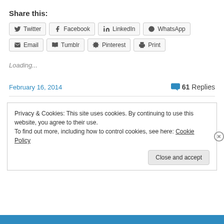Share this:
Twitter Facebook LinkedIn WhatsApp Email Tumblr Pinterest Print
Loading...
February 16, 2014   61 Replies
Privacy & Cookies: This site uses cookies. By continuing to use this website, you agree to their use.
To find out more, including how to control cookies, see here: Cookie Policy
Close and accept